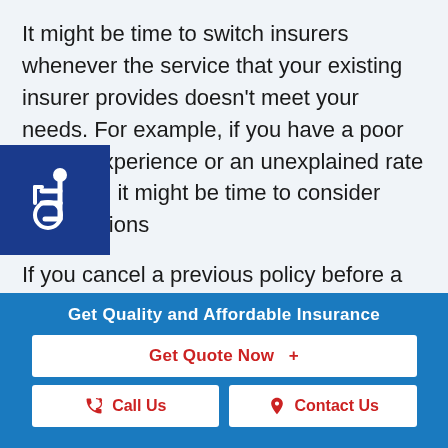It might be time to switch insurers whenever the service that your existing insurer provides doesn't meet your needs. For example, if you have a poor claims experience or an unexplained rate increase, it might be time to consider other options
[Figure (logo): Blue square with white wheelchair accessibility icon]
If you cancel a previous policy before a new policy is effective, you could run into some serious financial problems.
Contact us today to help you with multiple
Get Quality and Affordable Insurance
Get Quote Now  +
Call Us
Contact Us